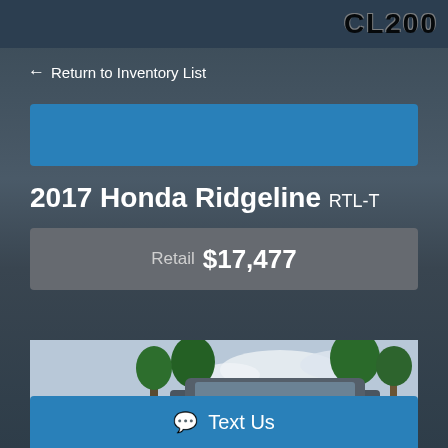CL200 (logo/header)
← Return to Inventory List
[Figure (illustration): Blue banner placeholder bar]
2017 Honda Ridgeline RTL-T
Retail $17,477
[Figure (photo): Photo of a 2017 Honda Ridgeline truck in a parking lot with Carolina Cars watermark in the upper left corner]
Text Us